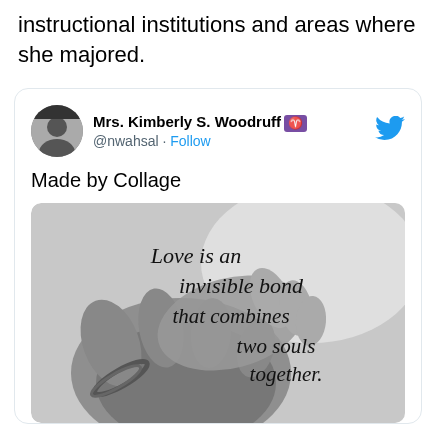instructional institutions and areas where she majored.
[Figure (screenshot): Tweet by @nwahsal (Mrs. Kimberly S. Woodruff) saying 'Made by Collage' with an embedded image of two hands holding each other in black and white, with text overlay: 'Love is an invisible bond that combines two souls together.']